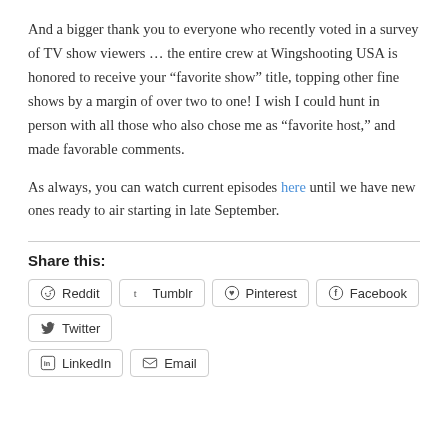And a bigger thank you to everyone who recently voted in a survey of TV show viewers … the entire crew at Wingshooting USA is honored to receive your “favorite show” title, topping other fine shows by a margin of over two to one! I wish I could hunt in person with all those who also chose me as “favorite host,” and made favorable comments.
As always, you can watch current episodes here until we have new ones ready to air starting in late September.
Share this:
Reddit
Tumblr
Pinterest
Facebook
Twitter
LinkedIn
Email